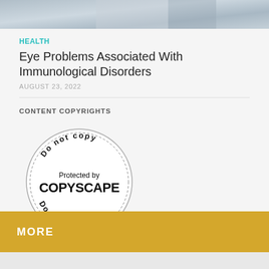[Figure (photo): Partial photo of medical professionals in white coats, cropped at top of page]
HEALTH
Eye Problems Associated With Immunological Disorders
AUGUST 23, 2022
CONTENT COPYRIGHTS
[Figure (logo): Copyscape 'Do not copy — Protected by COPYSCAPE — Do not copy' circular stamp badge]
MORE